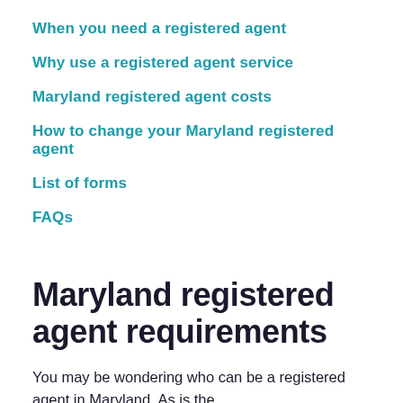When you need a registered agent
Why use a registered agent service
Maryland registered agent costs
How to change your Maryland registered agent
List of forms
FAQs
Maryland registered agent requirements
You may be wondering who can be a registered agent in Maryland. As is the